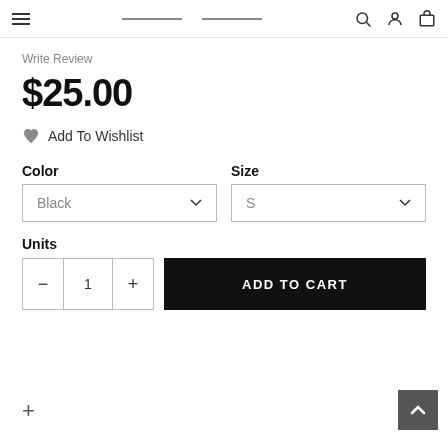Navigation header with hamburger menu, search, account, and cart icons
Write Review
$25.00
Add To Wishlist
Color
Black
Size
S
Units
– 1 + ADD TO CART